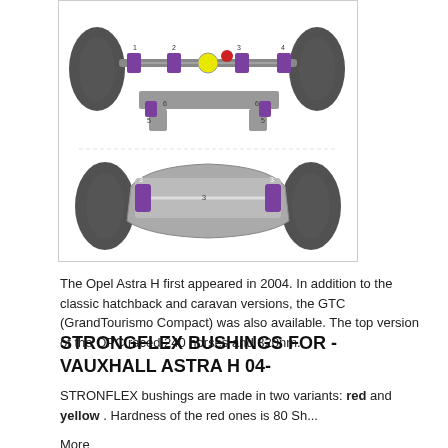[Figure (schematic): Technical diagram of Opel Astra H suspension/bushing layout showing top view of front and rear axle assemblies with numbered bushing positions marked in purple, yellow and red.]
The Opel Astra H first appeared in 2004. In addition to the classic hatchback and caravan versions, the GTC (GrandTourismo Compact) was also available. The top version of the OPC raced 240 horses and 320nm.
STRONGFLEX BUSHINGS FOR -VAUXHALL ASTRA H 04-
STRONFLEX bushings are made in two variants: red and yellow . Hardness of the red ones is 80 Sh...
More
Enabled filters:
This shop uses cookies and other technologies so that we can improve your experience on our sites.
| Manufacturer | Bushing location | Hardness |
| --- | --- | --- |